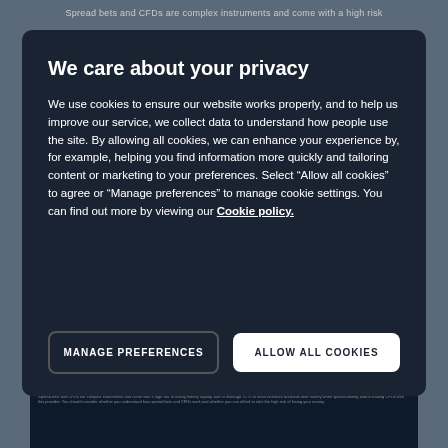Spread bets and CFDs are complex instruments and come with a high risk
We care about your privacy
We use cookies to ensure our website works properly, and to help us improve our service, we collect data to understand how people use the site. By allowing all cookies, we can enhance your experience by, for example, helping you find information more quickly and tailoring content or marketing to your preferences. Select “Allow all cookies” to agree or “Manage preferences” to manage cookie settings. You can find out more by viewing our Cookie policy.
MANAGE PREFERENCES
ALLOW ALL COOKIES